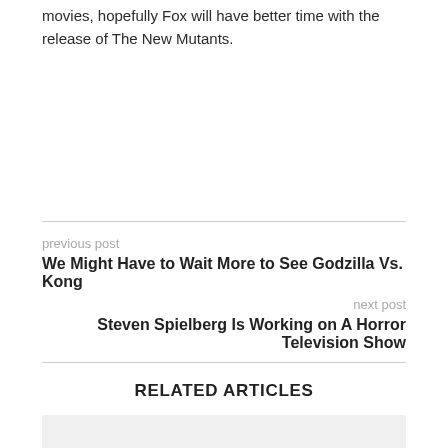movies, hopefully Fox will have better time with the release of The New Mutants.
previous post
We Might Have to Wait More to See Godzilla Vs. Kong
next post
Steven Spielberg Is Working on A Horror Television Show
RELATED ARTICLES
[Figure (photo): Related article image placeholder (light gray box)]